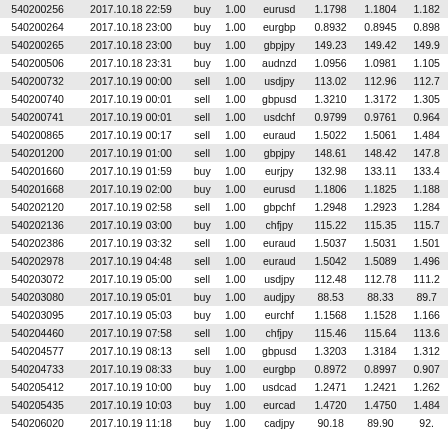| ID | Date/Time | Type | Volume | Symbol | Price1 | Price2 | Price3 |
| --- | --- | --- | --- | --- | --- | --- | --- |
| 540200256 | 2017.10.18 22:59 | buy | 1.00 | eurusd | 1.1798 | 1.1804 | 1.182 |
| 540200264 | 2017.10.18 23:00 | buy | 1.00 | eurgbp | 0.8932 | 0.8945 | 0.898 |
| 540200265 | 2017.10.18 23:00 | buy | 1.00 | gbpjpy | 149.23 | 149.42 | 149.9 |
| 540200506 | 2017.10.18 23:31 | buy | 1.00 | audnzd | 1.0956 | 1.0981 | 1.105 |
| 540200732 | 2017.10.19 00:00 | sell | 1.00 | usdjpy | 113.02 | 112.96 | 112.7 |
| 540200740 | 2017.10.19 00:01 | sell | 1.00 | gbpusd | 1.3210 | 1.3172 | 1.305 |
| 540200741 | 2017.10.19 00:01 | sell | 1.00 | usdchf | 0.9799 | 0.9761 | 0.964 |
| 540200865 | 2017.10.19 00:17 | sell | 1.00 | euraud | 1.5022 | 1.5061 | 1.484 |
| 540201200 | 2017.10.19 01:00 | sell | 1.00 | gbpjpy | 148.61 | 148.42 | 147.8 |
| 540201660 | 2017.10.19 01:59 | buy | 1.00 | eurjpy | 132.98 | 133.11 | 133.4 |
| 540201668 | 2017.10.19 02:00 | buy | 1.00 | eurusd | 1.1806 | 1.1825 | 1.188 |
| 540202120 | 2017.10.19 02:58 | sell | 1.00 | gbpchf | 1.2948 | 1.2923 | 1.284 |
| 540202136 | 2017.10.19 03:00 | buy | 1.00 | chfjpy | 115.22 | 115.35 | 115.7 |
| 540202386 | 2017.10.19 03:32 | sell | 1.00 | euraud | 1.5037 | 1.5031 | 1.501 |
| 540202978 | 2017.10.19 04:48 | sell | 1.00 | euraud | 1.5042 | 1.5089 | 1.496 |
| 540203072 | 2017.10.19 05:00 | sell | 1.00 | usdjpy | 112.48 | 112.78 | 111.2 |
| 540203080 | 2017.10.19 05:01 | buy | 1.00 | audjpy | 88.53 | 88.33 | 89.7 |
| 540203095 | 2017.10.19 05:03 | buy | 1.00 | eurchf | 1.1568 | 1.1528 | 1.166 |
| 540204460 | 2017.10.19 07:58 | sell | 1.00 | chfjpy | 115.46 | 115.64 | 113.6 |
| 540204577 | 2017.10.19 08:13 | sell | 1.00 | gbpusd | 1.3203 | 1.3184 | 1.312 |
| 540204733 | 2017.10.19 08:33 | buy | 1.00 | eurgbp | 0.8972 | 0.8997 | 0.907 |
| 540205412 | 2017.10.19 10:00 | buy | 1.00 | usdcad | 1.2471 | 1.2421 | 1.262 |
| 540205435 | 2017.10.19 10:03 | buy | 1.00 | eurcad | 1.4720 | 1.4750 | 1.484 |
| 540206020 | 2017.10.19 11:18 | buy | 1.00 | cadjpy | 90.18 | 89.90 | 92. |